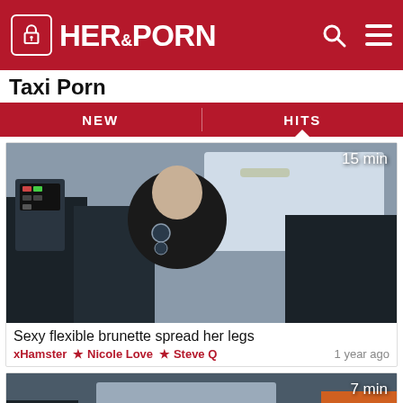HER&PORN
Taxi Porn
NEW | HITS
[Figure (photo): Woman in black jacket sitting in back of taxi cab, interior view. Duration badge: 15 min]
Sexy flexible brunette spread her legs
xHamster ★ Nicole Love ★ Steve Q    1 year ago
[Figure (photo): Second video thumbnail, taxi interior. Duration badge: 7 min]